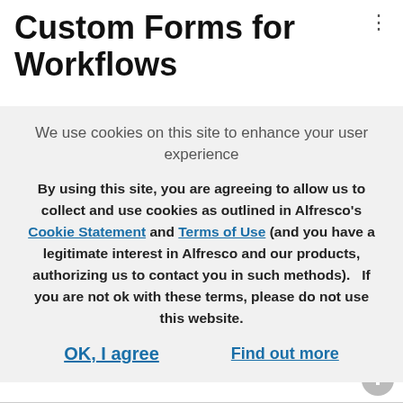Custom Forms for Workflows
We use cookies on this site to enhance your user experience
By using this site, you are agreeing to allow us to collect and use cookies as outlined in Alfresco's Cookie Statement and Terms of Use (and you have a legitimate interest in Alfresco and our products, authorizing us to contact you in such methods).   If you are not ok with these terms, please do not use this website.
OK, I agree
Find out more
0 Kudos
Reply
All topics